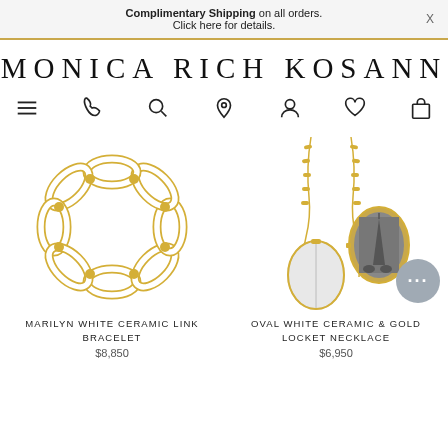Complimentary Shipping on all orders. Click here for details. X
MONICA RICH KOSANN
[Figure (screenshot): Navigation icons row: hamburger menu, phone, search, location pin, person/account, heart/wishlist, shopping bag]
[Figure (photo): Marilyn White Ceramic Link Bracelet - gold and white ceramic chain link bracelet on white background]
MARILYN WHITE CERAMIC LINK BRACELET
$8,850
[Figure (photo): Oval White Ceramic & Gold Locket Necklace - oval silver/white locket on gold chain, shown closed and open with black and white photo inside]
OVAL WHITE CERAMIC & GOLD LOCKET NECKLACE
$6,950